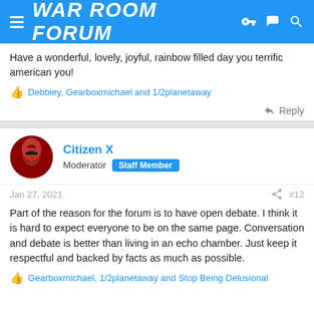WAR ROOM FORUM
Have a wonderful, lovely, joyful, rainbow filled day you terrific american you!
👍 Debbiey, Gearboxmichael and 1/2planetaway
↩ Reply
Citizen X
Moderator  Staff Member
Jan 27, 2021  #12
Part of the reason for the forum is to have open debate. I think it is hard to expect everyone to be on the same page. Conversation and debate is better than living in an echo chamber. Just keep it respectful and backed by facts as much as possible.
👍 Gearboxmichael, 1/2planetaway and Stop Being Delusional